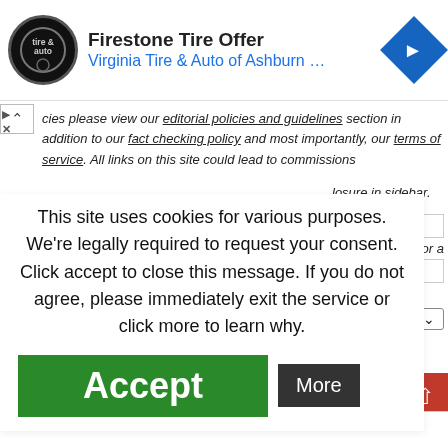[Figure (screenshot): Ad banner: Firestone Tire Offer, Virginia Tire & Auto of Ashburn... with circular logo and blue diamond navigation icon]
cies please view our editorial policies and guidelines section in addition to our fact checking policy and most importantly, our terms of service. All links on this site could lead to commissions
losure in sidebar.
RSS or a
This site uses cookies for various purposes. We're legally required to request your consent. Click accept to close this message. If you do not agree, please immediately exit the service or click more to learn why.
Accept
More
rt by Newest
Add a comment